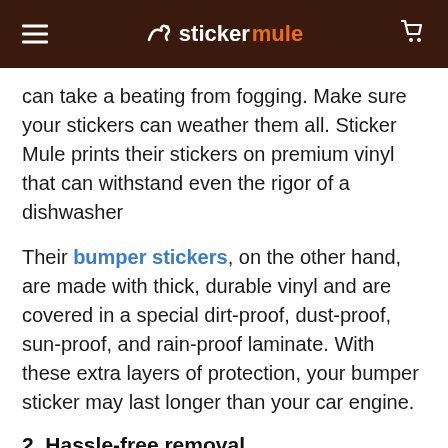stickermule
can take a beating from fogging. Make sure your stickers can weather them all. Sticker Mule prints their stickers on premium vinyl that can withstand even the rigor of a dishwasher
Their bumper stickers, on the other hand, are made with thick, durable vinyl and are covered in a special dirt-proof, dust-proof, sun-proof, and rain-proof laminate. With these extra layers of protection, your bumper sticker may last longer than your car engine.
2. Hassle-free removal
Sure, stickers are easy to put on, but are they